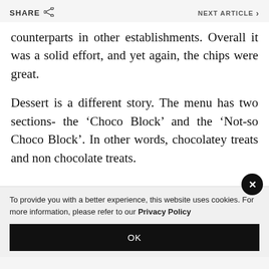SHARE   NEXT ARTICLE >
counterparts in other establishments. Overall it was a solid effort, and yet again, the chips were great.
Dessert is a different story. The menu has two sections- the ‘Choco Block’ and the ‘Not-so Choco Block’. In other words, chocolatey treats and non chocolate treats.
To provide you with a better experience, this website uses cookies. For more information, please refer to our Privacy Policy
OK